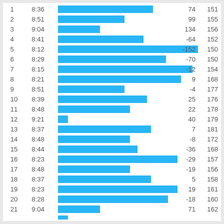[Figure (bar-chart): Lap data chart]